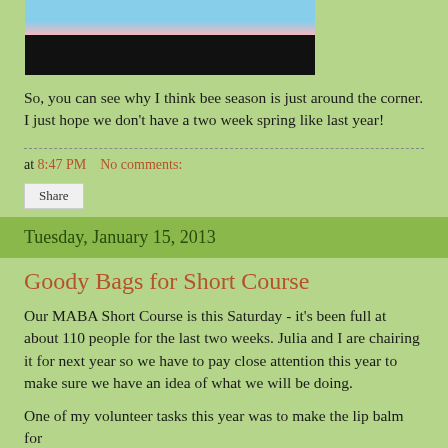[Figure (photo): Top portion of a blog post photo showing cherry blossoms against blue sky (top) and a black bar at the bottom of the image.]
So, you can see why I think bee season is just around the corner.  I just hope we don't have a two week spring like last year!
at 8:47 PM    No comments:
Share
Tuesday, January 15, 2013
Goody Bags for Short Course
Our MABA Short Course is this Saturday - it's been full at about 110 people for the last two weeks.  Julia and I are chairing it for next year so we have to pay close attention this year to make sure we have an idea of what we will be doing.
One of my volunteer tasks this year was to make the lip balm for